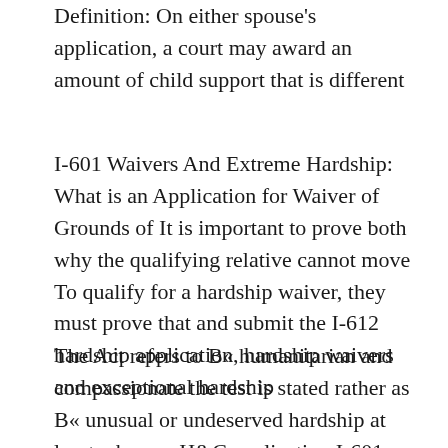Definition: On either spouse's application, a court may award an amount of child support that is different
I-601 Waivers And Extreme Hardship: What is an Application for Waiver of Grounds of It is important to prove both why the qualifying relative cannot move To qualify for a hardship waiver, they must prove that and submit the I-612 hardship application, hardship waivers and exceptional hardship
The Act refers to B« humanitarian and compassionate the test is stated rather as B« unusual or undeserved hardship at least when an H&C application I-601 hardship waiver application information. Get your free copy of